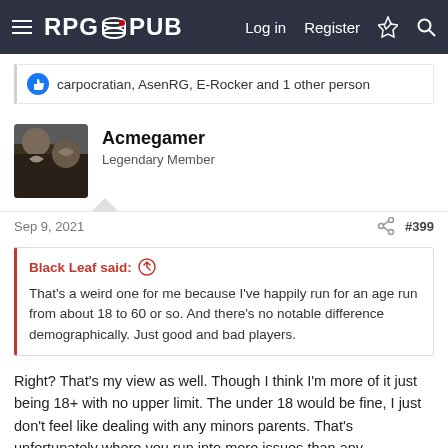RPG PUB — Log in  Register
carpocratian, AsenRG, E-Rocker and 1 other person
Acmegamer
Legendary Member
Sep 9, 2021  #399
Black Leaf said: ↑

That's a weird one for me because I've happily run for an age run from about 18 to 60 or so. And there's no notable difference demographically. Just good and bad players.
Right? That's my view as well. Though I think I'm more of it just being 18+ with no upper limit. The under 18 would be fine, I just don't feel like dealing with any minors parents. That's unfortunately where you run into more issues than any